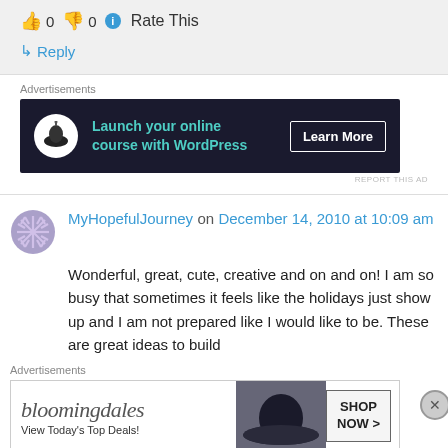👍 0 👎 0 ℹ Rate This
↳ Reply
Advertisements
[Figure (other): Dark advertisement banner: Launch your online course with WordPress — Learn More button]
MyHopefulJourney on December 14, 2010 at 10:09 am
Wonderful, great, cute, creative and on and on! I am so busy that sometimes it feels like the holidays just show up and I am not prepared like I would like to be. These are great ideas to build
Advertisements
[Figure (other): Bloomingdale's advertisement banner: View Today's Top Deals! — Shop Now >]